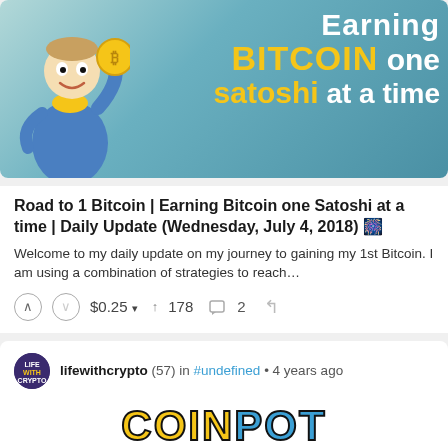[Figure (illustration): Banner image with cartoon vault boy character holding a bitcoin coin, teal/blue background with text: Earning BITCOIN one satoshi at a time]
Road to 1 Bitcoin | Earning Bitcoin one Satoshi at a time | Daily Update (Wednesday, July 4, 2018) 🎆
Welcome to my daily update on my journey to gaining my 1st Bitcoin. I am using a combination of strategies to reach…
$0.25 ▾   ↑ 178   💬 2
lifewithcrypto (57) in #undefined • 4 years ago
[Figure (logo): COINPOT ACCOUNT text logo in stylized bold font with yellow COIN, blue POT, white ACCOUNT on dark outline]
test
FAUCETS CLAIM TIMER REWARDS (AVERAGE) LINKS 15 Minutes - 24 Hours ~10-20 Satoshi + up to…